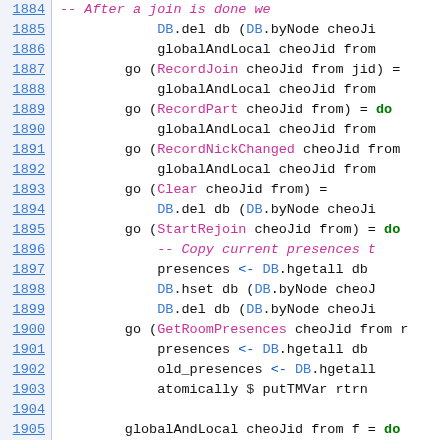[Figure (screenshot): Source code listing showing Haskell/functional code with line numbers 1884-1905, syntax highlighted in pink, green, blue, and black on white background.]